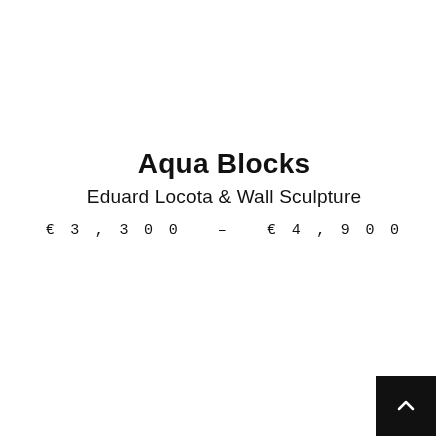Aqua Blocks
Eduard Locota & Wall Sculpture
€ 3 , 3 0 0  –  € 4 , 9 0 0